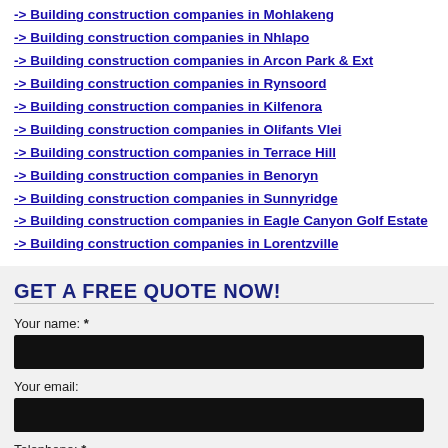-> Building construction companies in Mohlakeng
-> Building construction companies in Nhlapo
-> Building construction companies in Arcon Park & Ext
-> Building construction companies in Rynsoord
-> Building construction companies in Kilfenora
-> Building construction companies in Olifants Vlei
-> Building construction companies in Terrace Hill
-> Building construction companies in Benoryn
-> Building construction companies in Sunnyridge
-> Building construction companies in Eagle Canyon Golf Estate
-> Building construction companies in Lorentzville
GET A FREE QUOTE NOW!
Your name: *
Your email:
Telephone: *